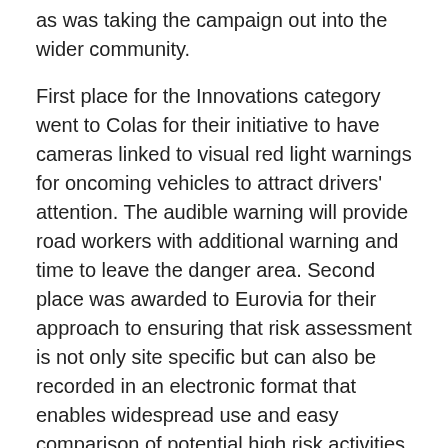as was taking the campaign out into the wider community.
First place for the Innovations category went to Colas for their initiative to have cameras linked to visual red light warnings for oncoming vehicles to attract drivers' attention. The audible warning will provide road workers with additional warning and time to leave the danger area. Second place was awarded to Eurovia for their approach to ensuring that risk assessment is not only site specific but can also be recorded in an electronic format that enables widespread use and easy comparison of potential high risk activities.
Commenting on the RSTA Health and Safety Awards, Mr Cooke said: “Working on the road network, often in live traffic locations can be extremely hazardous. The RSTA awards are welcomed by their highlighting the need for health and safety and best practice. The winning companies are to be congratulated for their